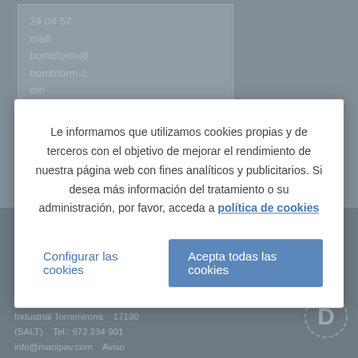24 04 57
mail:
bombform@
bombform.c
om
Le informamos que utilizamos cookies propias y de terceros con el objetivo de mejorar el rendimiento de nuestra página web con fines analíticos y publicitarios. Si desea más información del tratamiento o su administración, por favor, acceda a política de cookies
Configurar las cookies
Acepta todas las cookies
C/Vilablareix, 60 – Poligon Industrial Torremirona    17190 (SALT)    Tel.: 972 234 901    info@manipav.com    Aviso Legal    Politica de cookies